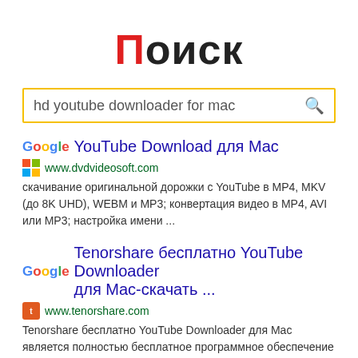Поиск
hd youtube downloader for mac
YouTube Download для Mac
www.dvdvideosoft.com
скачивание оригинальной дорожки с YouTube в MP4, MKV (до 8K UHD), WEBM и MP3; конвертация видео в MP4, AVI или MP3; настройка имени ...
Tenorshare бесплатно YouTube Downloader для Mac-скачать ...
www.tenorshare.com
Tenorshare бесплатно YouTube Downloader для Mac является полностью бесплатное программное обеспечение